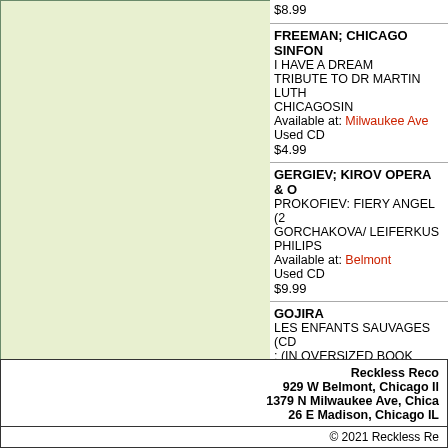[Figure (other): Large light green panel on the left side of the page]
$8.99
FREEMAN; CHICAGO SINFON...
I HAVE A DREAM
TRIBUTE TO DR MARTIN LUTH...
CHICAGOSIN
Available at: Milwaukee Ave
Used CD
$4.99
GERGIEV; KIROV OPERA & O...
PROKOFIEV: FIERY ANGEL (2...
GORCHAKOVA/ LEIFERKUS
PHILIPS
Available at: Belmont
Used CD
$9.99
GOJIRA
LES ENFANTS SAUVAGES (CD...
: (IN OVERSIZED BOOK PACK...
ROADRUNNER
Available at: Belmont
Used CD
$149.99
Reckless Reco...
929 W Belmont, Chicago Il...
1379 N Milwaukee Ave, Chica...
26 E Madison, Chicago IL...
© 2021 Reckless Re...